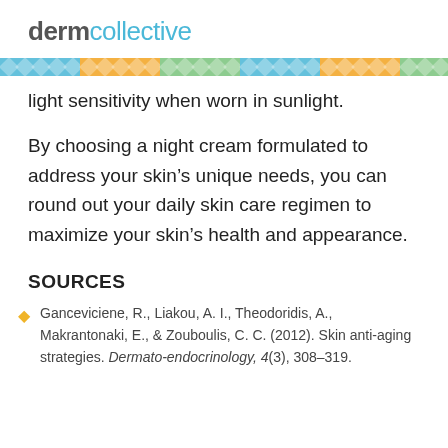dermcollective
light sensitivity when worn in sunlight.
By choosing a night cream formulated to address your skin’s unique needs, you can round out your daily skin care regimen to maximize your skin’s health and appearance.
SOURCES
Ganceviciene, R., Liakou, A. I., Theodoridis, A., Makrantonaki, E., & Zouboulis, C. C. (2012). Skin anti-aging strategies. Dermato-endocrinology, 4(3), 308–319.